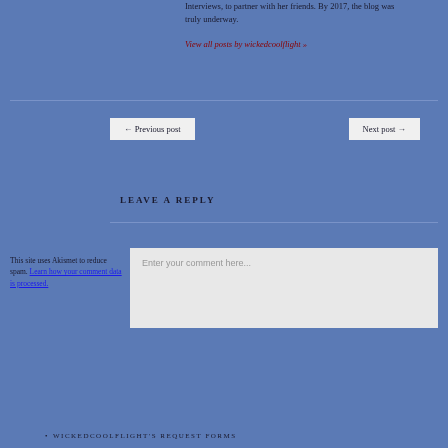Interviews, to partner with her friends. By 2017, the blog was truly underway.
View all posts by wickedcoolflight »
← Previous post
Next post →
LEAVE A REPLY
This site uses Akismet to reduce spam. Learn how your comment data is processed.
Enter your comment here...
WICKEDCOOLFLIGHT'S REQUEST FORMS